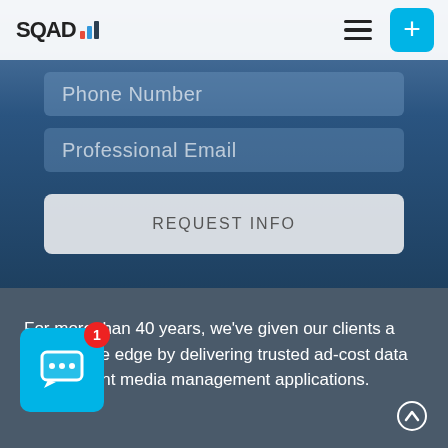[Figure (logo): SQAD logo with signal bars icon]
[Figure (screenshot): Hamburger menu icon button]
[Figure (screenshot): Blue plus button]
Phone Number
Professional Email
REQUEST INFO
For more than 40 years, we've given our clients a competitive edge by delivering trusted ad-cost data and efficient media management applications.
[Figure (screenshot): Blue chat widget button with notification badge showing 1]